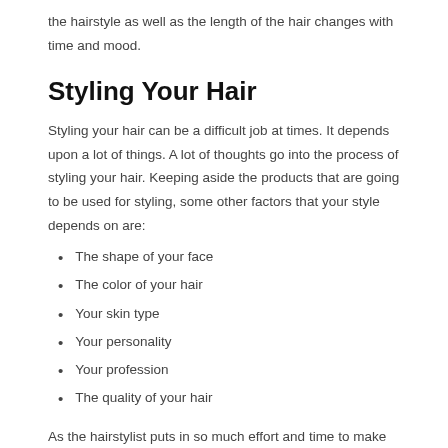the hairstyle as well as the length of the hair changes with time and mood.
Styling Your Hair
Styling your hair can be a difficult job at times. It depends upon a lot of things. A lot of thoughts go into the process of styling your hair. Keeping aside the products that are going to be used for styling, some other factors that your style depends on are:
The shape of your face
The color of your hair
Your skin type
Your personality
Your profession
The quality of your hair
As the hairstylist puts in so much effort and time to make sure that